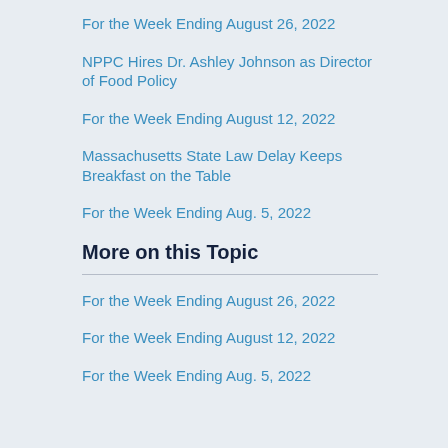For the Week Ending August 26, 2022
NPPC Hires Dr. Ashley Johnson as Director of Food Policy
For the Week Ending August 12, 2022
Massachusetts State Law Delay Keeps Breakfast on the Table
For the Week Ending Aug. 5, 2022
More on this Topic
For the Week Ending August 26, 2022
For the Week Ending August 12, 2022
For the Week Ending Aug. 5, 2022